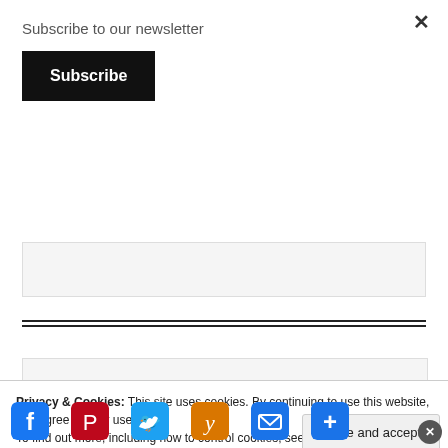Subscribe to our newsletter
Subscribe
Privacy & Cookies: This site uses cookies. By continuing to use this website, you agree to their use.
To find out more, including how to control cookies, see here: Cookie Policy
Close and accept